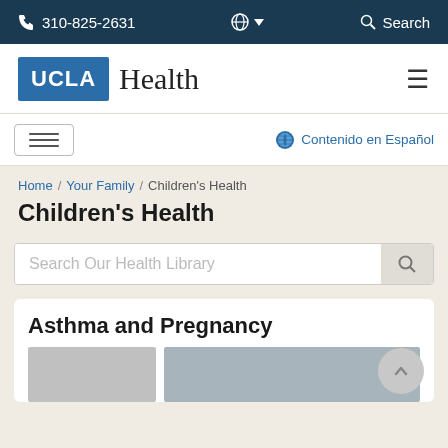310-825-2631  Search
[Figure (logo): UCLA Health logo with UCLA in blue box and 'Health' in serif text next to it]
[Figure (infographic): Navigation bar with hamburger menu button and 'Contenido en Español' link with globe icon]
Home / Your Family / Children's Health
Children's Health
Search Our Health Library
Asthma and Pregnancy